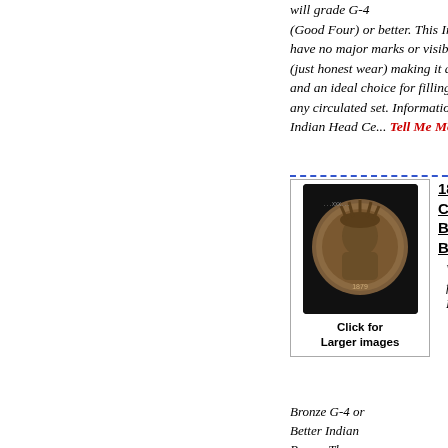will grade G-4 (Good Four) or better. This Indian head cent will have no major marks or visible problems (just honest wear) making it a great value and an ideal choice for filling the holes in any circulated set. Information on the Indian Head Ce... Tell Me More...
[Figure (photo): Photo of 1879 Indian Head Cent coin, dark bronze color showing Indian head portrait, with text 'Click for Larger images' below]
1879 Indian Head Cent Variety Bronze G-4 or Better Indian
We are pleased to offer for sale this 1879 Indian Head Cent Var...
Bronze G-4 or Better Indian Penny. The Indian Head Cent is circulated and will grade G- Four) or better. This Indian Head w no major marks or visible problems honest wear) making it a great valu an ideal choice for filling the holes circulated set. Information on the I Head Ce... Tell Me More...
Our price
Add to
Send to